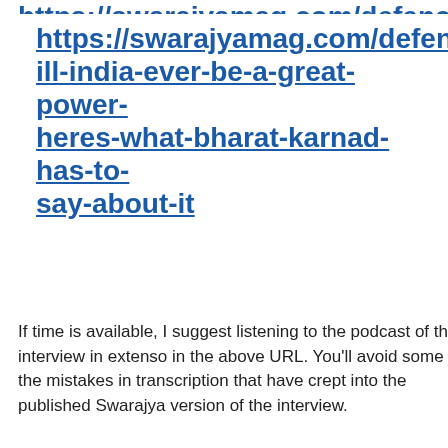https://swarajyamag.com/defence/w
https://swarajyamag.com/defence/will-india-ever-be-a-great-power-heres-what-bharat-karnad-has-to-say-about-it
If time is available, I suggest listening to the podcast of the interview in extenso in the above URL. You'll avoid some of the mistakes in transcription that have crept into the published Swarajya version of the interview.